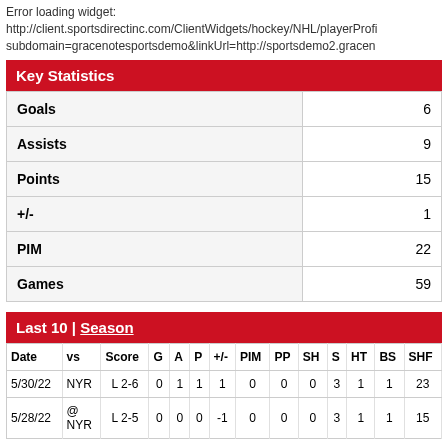Error loading widget: http://client.sportsdirectinc.com/ClientWidgets/hockey/NHL/playerProfi subdomain=gracenotesportsdemo&linkUrl=http://sportsdemo2.gracen
Key Statistics
|  |  |
| --- | --- |
| Goals | 6 |
| Assists | 9 |
| Points | 15 |
| +/- | 1 |
| PIM | 22 |
| Games | 59 |
Last 10 | Season
| Date | vs | Score | G | A | P | +/- | PIM | PP | SH | S | HT | BS | SHF |
| --- | --- | --- | --- | --- | --- | --- | --- | --- | --- | --- | --- | --- | --- |
| 5/30/22 | NYR | L 2-6 | 0 | 1 | 1 | 1 | 0 | 0 | 0 | 3 | 1 | 1 | 23 | 1 |
| 5/28/22 | @ NYR | L 2-5 | 0 | 0 | 0 | -1 | 0 | 0 | 0 | 3 | 1 | 1 | 15 | 1 |